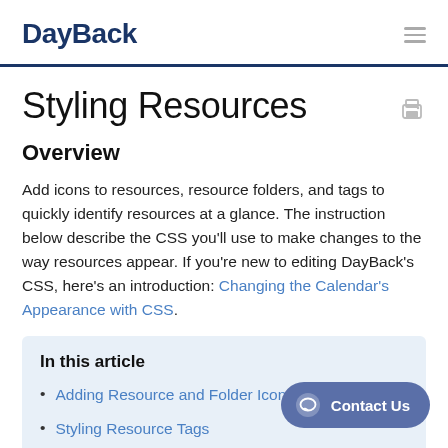DayBack
Styling Resources
Overview
Add icons to resources, resource folders, and tags to quickly identify resources at a glance. The instruction below describe the CSS you'll use to make changes to the way resources appear. If you're new to editing DayBack's CSS, here's an introduction: Changing the Calendar's Appearance with CSS.
In this article
Adding Resource and Folder Icons
Styling Resource Tags